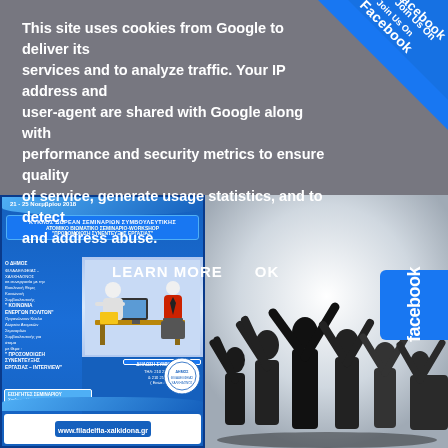This site uses cookies from Google to deliver its services and to analyze traffic. Your IP address and user-agent are shared with Google along with performance and security metrics to ensure quality of service, generate usage statistics, and to detect and address abuse.
LEARN MORE    OK
[Figure (infographic): Join Us On Facebook ribbon banner in top right corner]
[Figure (infographic): Blue promotional poster in Greek for ΚΥΚΛΟΣ ΔΩΡΕΑΝ ΣΕΜΙΝΑΡΙΩΝ ΣΥΜΒΟΥΛΕΥΤΙΚΗΣ - ΑΤΟΜΙΚΟ ΒΙΩΜΑΤΙΚΟ ΣΕΜΙΝΑΡΙΟ-WORKSHOP 'ΠΡΟΣΟΜΟΙΩΣΗ ΣΥΝΕΝΤΕΥΞΗΣ ΕΡΓΑΣΙΑΣ' - ΔΗΜΟΣ ΦΙΛΑΔΕΛΦΕΙΑΣ-ΧΑΛΚΗΔΟΝΟΣ, 21-25 Νοεμβρίου 2018]
[Figure (photo): Silhouette image of celebrating people with arms raised, black figures on white/grey background]
[Figure (infographic): Facebook side button]